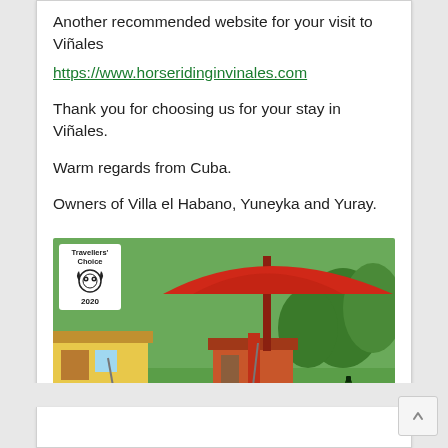Another recommended website for your visit to Viñales
https://www.horseridinginvinales.com
Thank you for choosing us for your stay in Viñales.
Warm regards from Cuba.
Owners of Villa el Habano, Yuneyka and Yuray.
[Figure (photo): Outdoor garden area of Villa el Habano with red umbrella, hammock, chairs, and tropical trees. Travellers' Choice 2020 badge in top-left corner. Caption bar reads 'Ver todas las fotos (556)']